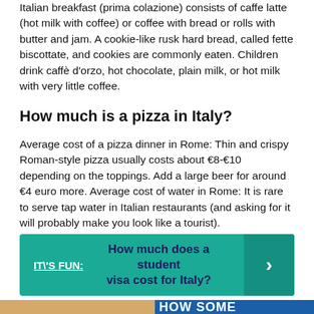Italian breakfast (prima colazione) consists of caffe latte (hot milk with coffee) or coffee with bread or rolls with butter and jam. A cookie-like rusk hard bread, called fette biscottate, and cookies are commonly eaten. Children drink caffè d'orzo, hot chocolate, plain milk, or hot milk with very little coffee.
How much is a pizza in Italy?
Average cost of a pizza dinner in Rome: Thin and crispy Roman-style pizza usually costs about €8-€10 depending on the toppings. Add a large beer for around €4 euro more. Average cost of water in Rome: It is rare to serve tap water in Italian restaurants (and asking for it will probably make you look like a tourist).
IT\'S FUN:  How much does a student visa cost for Italy?
[Figure (photo): Bottom banner image partially visible showing food photo on left and blue text on right reading HOW SOME]